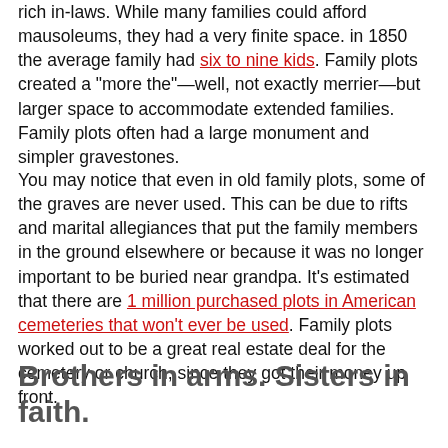rich in-laws. While many families could afford mausoleums, they had a very finite space. in 1850 the average family had six to nine kids. Family plots created a "more the"—well, not exactly merrier—but larger space to accommodate extended families. Family plots often had a large monument and simpler gravestones.
You may notice that even in old family plots, some of the graves are never used. This can be due to rifts and marital allegiances that put the family members in the ground elsewhere or because it was no longer important to be buried near grandpa. It's estimated that there are 1 million purchased plots in American cemeteries that won't ever be used. Family plots worked out to be a great real estate deal for the cemetery or church, since they got their money up front.
Brothers in arms. Sisters in faith.